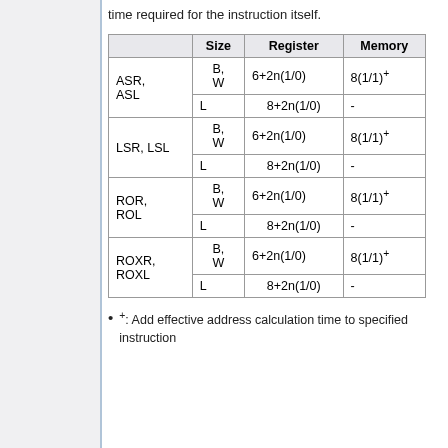time required for the instruction itself.
|  | Size | Register | Memory |
| --- | --- | --- | --- |
| ASR, ASL | B, W | 6+2n(1/0) | 8(1/1)+ |
|  | L | 8+2n(1/0) | - |
| LSR, LSL | B, W | 6+2n(1/0) | 8(1/1)+ |
|  | L | 8+2n(1/0) | - |
| ROR, ROL | B, W | 6+2n(1/0) | 8(1/1)+ |
|  | L | 8+2n(1/0) | - |
| ROXR, ROXL | B, W | 6+2n(1/0) | 8(1/1)+ |
|  | L | 8+2n(1/0) | - |
+: Add effective address calculation time to specified instruction